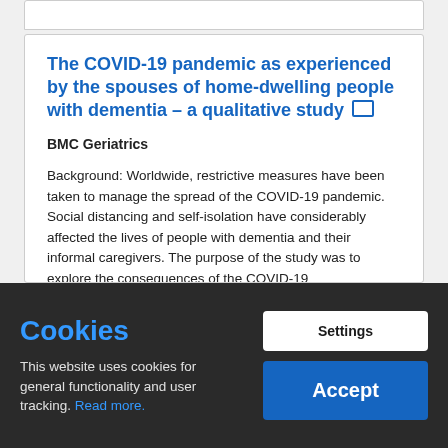The COVID-19 pandemic as experienced by the spouses of home-dwelling people with dementia – a qualitative study
BMC Geriatrics
Background: Worldwide, restrictive measures have been taken to manage the spread of the COVID-19 pandemic. Social distancing and self-isolation have considerably affected the lives of people with dementia and their informal caregivers. The purpose of the study was to explore the consequences of the COVID-19
Cookies
This website uses cookies for general functionality and user tracking. Read more.